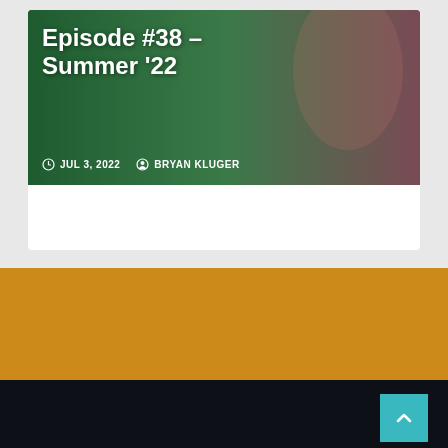[Figure (photo): Green and warm-toned background image behind podcast episode card with woman]
Episode #38 – Summer '22
JUL 3, 2022   BRYAN KLUGER
Boomstick Comics
Film, Television, Music, & More.
© Copyright 2020 Newsup. All Rights Reserved. by Themeansar